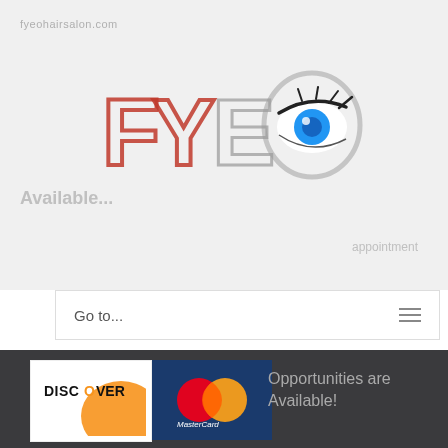fyeohairsalon.com
[Figure (logo): FYEO Hair Salon logo with stylized red/gray letters F Y E O and a blue eye graphic with eyelashes]
Available...
appointment
Go to...
[Figure (logo): Discover card logo and MasterCard logo side by side]
Opportunities are Available!
Employee Login
Copyright 2022 FYEOHAIRSALON.com | All Rights Reserved | Design & Powered by XTREME IT, Inc.